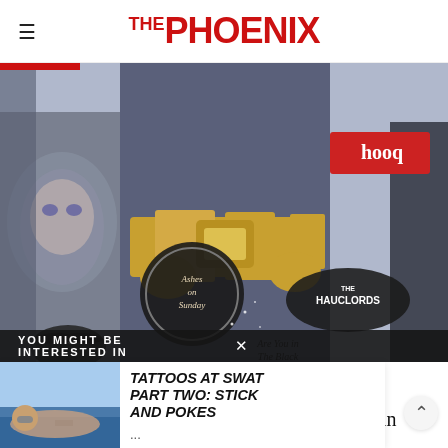THE PHOENIX
[Figure (illustration): Comic book style illustration showing a figure in dark outfit with utility belt, tattoos visible on left arm, logos including Batman 75, Ashes on Sunday, hooq, The Hauclords, and handwritten text 'Are You in The Black']
YOU MIGHT BE INTERESTED IN
TATTOOS AT SWAT PART TWO: STICK AND POKES
...
date guys your own age," a fellow grad-student tells Barbara in